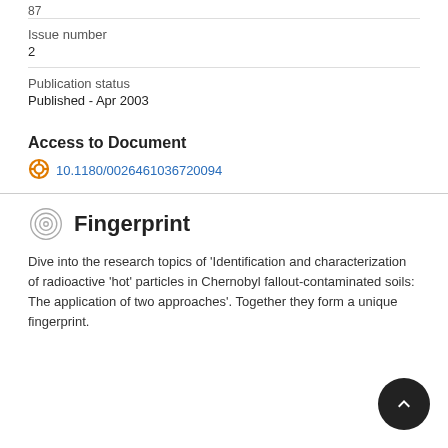87
Issue number
2
Publication status
Published - Apr 2003
Access to Document
10.1180/0026461036720094
Fingerprint
Dive into the research topics of 'Identification and characterization of radioactive 'hot' particles in Chernobyl fallout-contaminated soils: The application of two approaches'. Together they form a unique fingerprint.